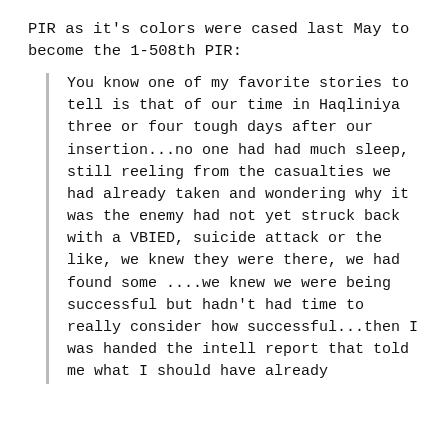PIR as it's colors were cased last May to become the 1-508th PIR:
You know one of my favorite stories to tell is that of our time in Haqliniya three or four tough days after our insertion...no one had had much sleep, still reeling from the casualties we had already taken and wondering why it was the enemy had not yet struck back with a VBIED, suicide attack or the like, we knew they were there, we had found some ....we knew we were being successful but hadn't had time to really consider how successful...then I was handed the intell report that told me what I should have already